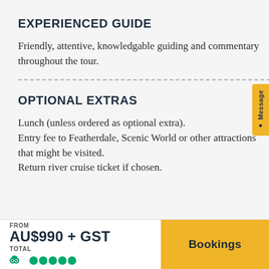EXPERIENCED GUIDE
Friendly, attentive, knowledgable guiding and commentary throughout the tour.
OPTIONAL EXTRAS
Lunch (unless ordered as optional extra). Entry fee to Featherdale, Scenic World or other attractions that might be visited. Return river cruise ticket if chosen.
FROM AU$990 + GST TOTAL
Bookings